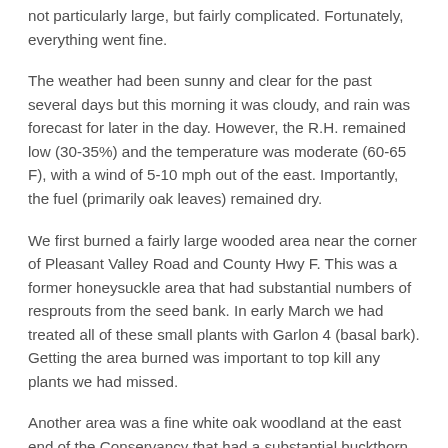not particularly large, but fairly complicated. Fortunately, everything went fine.
The weather had been sunny and clear for the past several days but this morning it was cloudy, and rain was forecast for later in the day. However, the R.H. remained low (30-35%) and the temperature was moderate (60-65 F), with a wind of 5-10 mph out of the east. Importantly, the fuel (primarily oak leaves) remained dry.
We first burned a fairly large wooded area near the corner of Pleasant Valley Road and County Hwy F. This was a former honeysuckle area that had substantial numbers of resprouts from the seed bank. In early March we had treated all of these small plants with Garlon 4 (basal bark). Getting the area burned was important to top kill any plants we had missed.
Another area was a fine white oak woodland at the east end of the Conservancy that had a substantial buckthorn infestation. Again, Garlon 4 basal bark had been used, and was followed today by a good burn. (See photo)